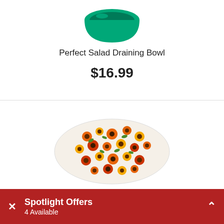[Figure (photo): Green salad draining bowl viewed from above, partially cropped at top]
Perfect Salad Draining Bowl
$16.99
[Figure (photo): Oval/round table cover with sunflower harvest floral pattern in orange, yellow, red and green on white background]
Sunflower Harvest Elasticized Vinyl Table Cover by
Spotlight Offers
4 Available